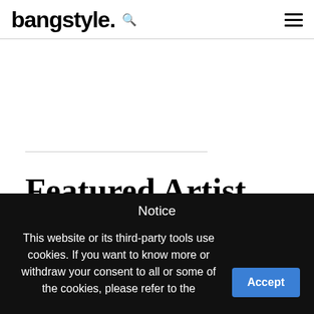bangstyle.
Featured Artist
Get inspired ... and stay inspired. From Brazil to Japan,
Notice

This website or its third-party tools use cookies. If you want to know more or withdraw your consent to all or some of the cookies, please refer to the
Accept